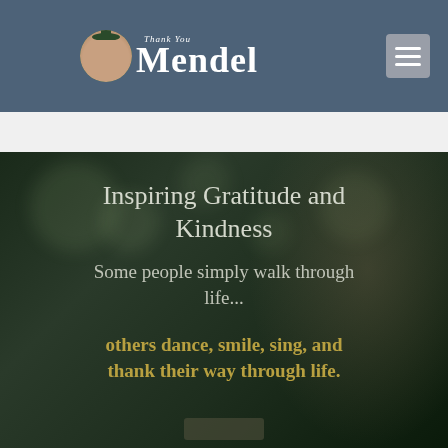[Figure (logo): Thank You Mendel logo with circular portrait photo and script text above the name Mendel in large white serif font on slate blue background header bar]
[Figure (photo): Hero background photo of a smiling young man in dark jacket against blurred bokeh green background, with overlaid text. Image is darkened/dimmed.]
Inspiring Gratitude and Kindness
Some people simply walk through life...
others dance, smile, sing, and thank their way through life.